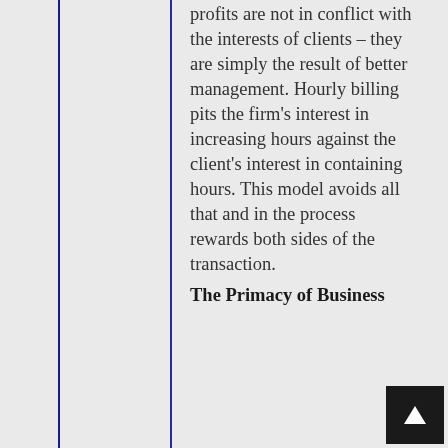profits are not in conflict with the interests of clients – they are simply the result of better management. Hourly billing pits the firm's interest in increasing hours against the client's interest in containing hours. This model avoids all that and in the process rewards both sides of the transaction.
The Primacy of Business